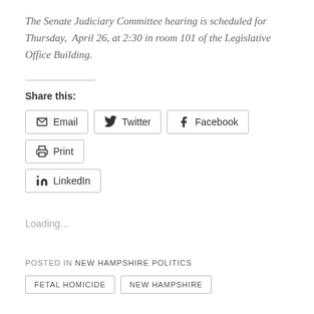The Senate Judiciary Committee hearing is scheduled for Thursday,  April 26, at 2:30 in room 101 of the Legislative Office Building.
Share this:
Loading…
POSTED IN NEW HAMPSHIRE POLITICS
FETAL HOMICIDE
NEW HAMPSHIRE